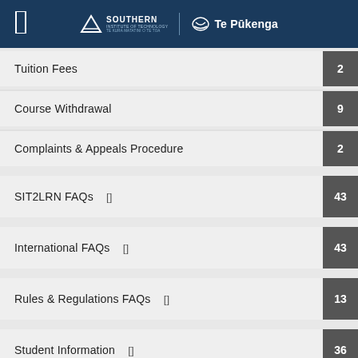Southern Institute of Technology | Te Pukenga
Tuition Fees  2
Course Withdrawal  9
Complaints & Appeals Procedure  2
SIT2LRN FAQs  43
International FAQs  43
Rules & Regulations FAQs  13
Student Information  36
Blended Delivery  5